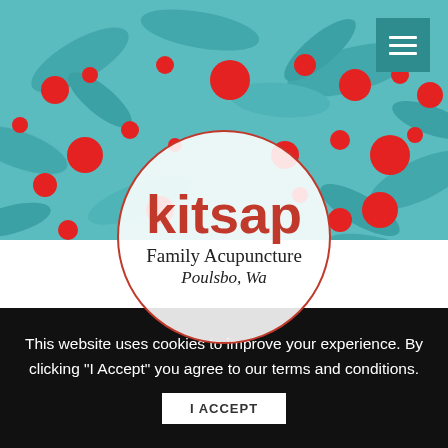[Figure (screenshot): Kitsap Family Acupuncture website hero section with teal leaf background, scattered red dots, circular logo with 'kitsap Family Acupuncture Poulsbo, Wa', and a hamburger menu icon in the top right.]
This website uses cookies to improve your experience. By clicking "I Accept" you agree to our terms and conditions.
I ACCEPT